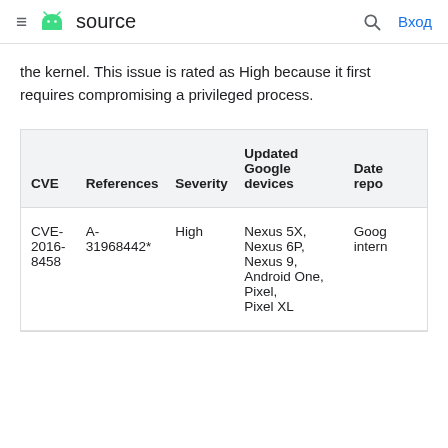≡  source   🔍  Вход
the kernel. This issue is rated as High because it first requires compromising a privileged process.
| CVE | References | Severity | Updated Google devices | Date repo |
| --- | --- | --- | --- | --- |
| CVE-2016-8458 | A-31968442* | High | Nexus 5X, Nexus 6P, Nexus 9, Android One, Pixel, Pixel XL | Goog intern |